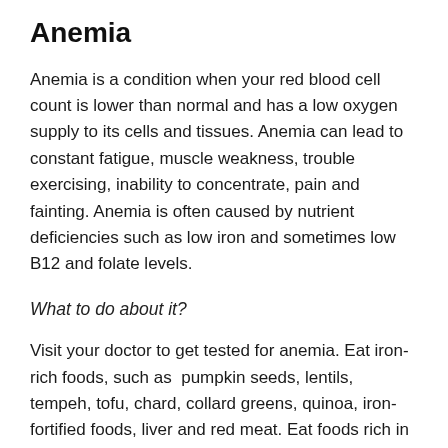Anemia
Anemia is a condition when your red blood cell count is lower than normal and has a low oxygen supply to its cells and tissues. Anemia can lead to constant fatigue, muscle weakness, trouble exercising, inability to concentrate, pain and fainting. Anemia is often caused by nutrient deficiencies such as low iron and sometimes low B12 and folate levels.
What to do about it?
Visit your doctor to get tested for anemia. Eat iron-rich foods, such as  pumpkin seeds, lentils, tempeh, tofu, chard, collard greens, quinoa, iron-fortified foods, liver and red meat. Eat foods rich in B vitamins, such as brewer's yeast, nuts, seeds, broccoli, avocados, greens and fortified foods. Take iron-supplements and B